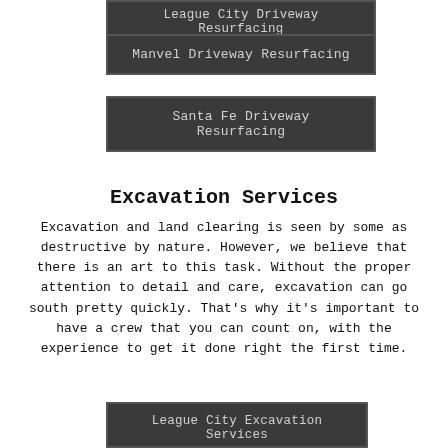League City Driveway Resurfacing
Manvel Driveway Resurfacing
Santa Fe Driveway Resurfacing
Excavation Services
Excavation and land clearing is seen by some as destructive by nature. However, we believe that there is an art to this task. Without the proper attention to detail and care, excavation can go south pretty quickly. That’s why it’s important to have a crew that you can count on, with the experience to get it done right the first time.
League City Excavation Services